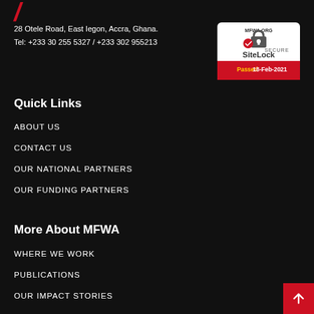[Figure (logo): Red italic slash/J logo mark at top left]
28 Otele Road, East Iegon, Accra, Ghana.
Tel: +233 30 255 5327 / +233 302 955213
[Figure (other): SiteLock SECURE badge - MFWA.ORG, Passed 18-Feb-2021]
Quick Links
ABOUT US
CONTACT US
OUR NATIONAL PARTNERS
OUR FUNDING PARTNERS
More About MFWA
WHERE WE WORK
PUBLICATIONS
OUR IMPACT STORIES